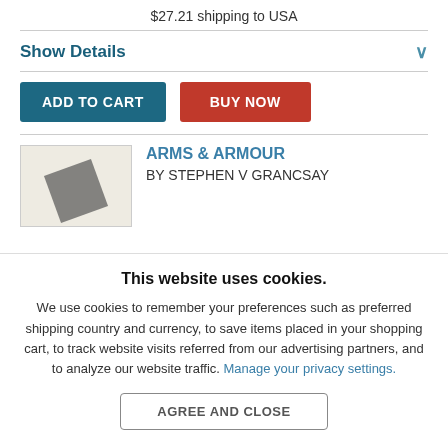$27.21 shipping to USA
Show Details
ADD TO CART
BUY NOW
ARMS & ARMOUR
BY STEPHEN V GRANCSAY
This website uses cookies.
We use cookies to remember your preferences such as preferred shipping country and currency, to save items placed in your shopping cart, to track website visits referred from our advertising partners, and to analyze our website traffic. Manage your privacy settings.
AGREE AND CLOSE